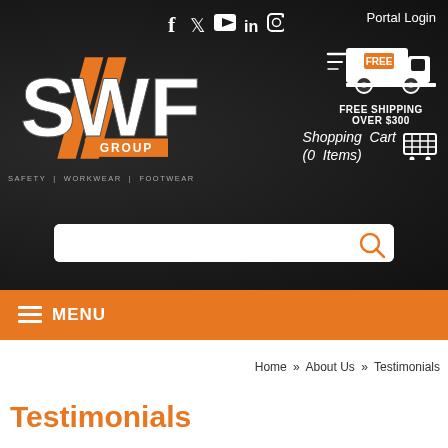[Figure (screenshot): SWF Group website header with dark background, social media icons, SWF Group logo, free shipping badge, shopping cart link, search bar]
Portal Login
FREE SHIPPING OVER $300
Shopping Cart (0 Items)
≡ MENU
Home » About Us » Testimonials
Testimonials